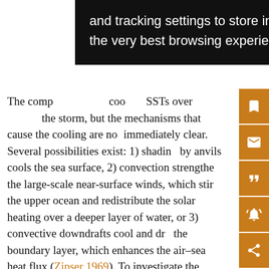[Figure (screenshot): Black popup overlay with white text reading 'and tracking settings to store information that help give you the very best browsing experience.']
The comp[osite shows] coo[ling] SSTs over[all around] the storm, but the mechanisms that cause the cooling are no[t] immediately clear. Several possibilities exist: 1) shadin[g] by anvils cools the sea surface, 2) convection strengthe[ns] the large-scale near-surface winds, which stir the upper ocean and redistribute the solar heating over a deeper layer of water, or 3) convective downdrafts cool and dr[y] the boundary layer, which enhances the air–sea heat flux (Zipser 1969). To investigate the mechanism that cools the SSTs, we study similar composites but for the nighttime measurements, which were all made within several hours of 0130 local time. This is presented in Fig. 12. Wid[th] SST [composites] MCS...